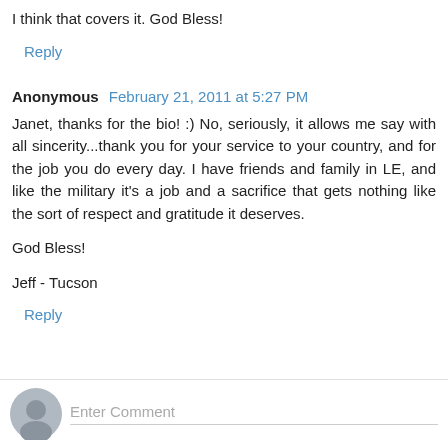I think that covers it. God Bless!
Reply
Anonymous  February 21, 2011 at 5:27 PM
Janet, thanks for the bio! :) No, seriously, it allows me say with all sincerity...thank you for your service to your country, and for the job you do every day. I have friends and family in LE, and like the military it's a job and a sacrifice that gets nothing like the sort of respect and gratitude it deserves.
God Bless!
Jeff - Tucson
Reply
Enter Comment